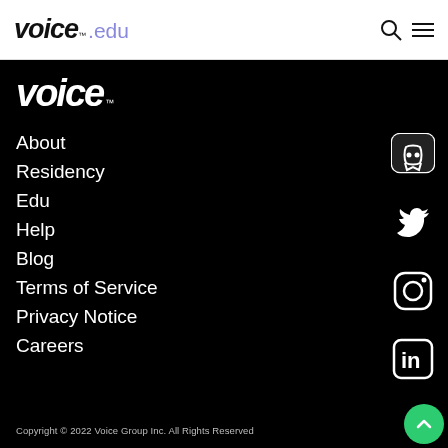voice™.edu
voice™
About
Residency
Edu
Help
Blog
Terms of Service
Privacy Notice
Careers
[Figure (logo): Discord social media icon (white rounded square chat bubble)]
[Figure (logo): Twitter social media icon (white bird)]
[Figure (logo): Instagram social media icon (white camera square)]
[Figure (logo): LinkedIn social media icon (white 'in' square)]
Copyright © 2022 Voice Group Inc. All Rights Reserved